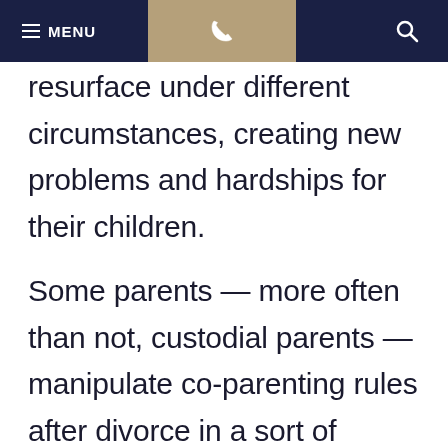MENU | [phone icon] | [search icon]
resurface under different circumstances, creating new problems and hardships for their children.
Some parents — more often than not, custodial parents — manipulate co-parenting rules after divorce in a sort of power